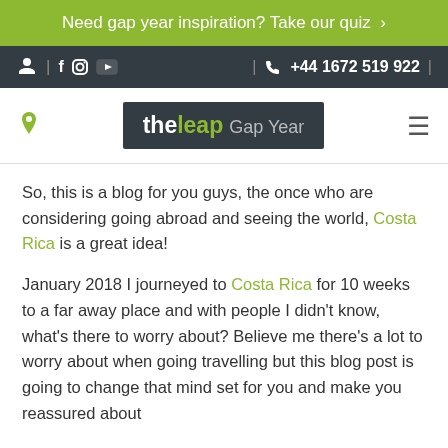Need gap year inspiration? Take our quiz >
| f ig yt | +44 1672 519 922 |
[Figure (logo): the leap Gap Year logo on dark background]
So, this is a blog for you guys, the once who are considering going abroad and seeing the world, Costa Rica is a great idea!
January 2018 I journeyed to Costa Rica for 10 weeks to a far away place and with people I didn't know, what's there to worry about? Believe me there's a lot to worry about when going travelling but this blog post is going to change that mind set for you and make you reassured about